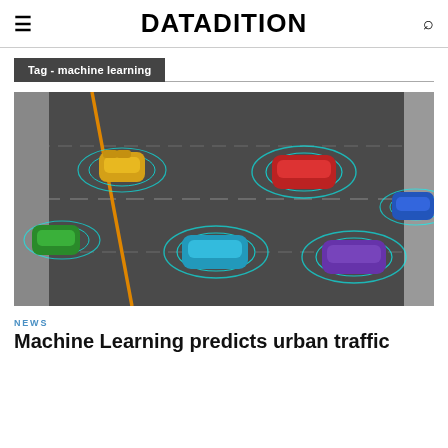DATADITION
Tag - machine learning
[Figure (illustration): Top-down view of autonomous vehicles on a road, each surrounded by glowing cyan radar/sensor rings, with cars colored orange, green, teal/blue, red, purple, and blue on a dark road background.]
NEWS
Machine Learning predicts urban traffic